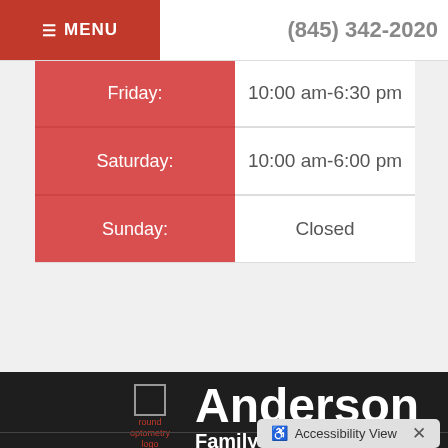≡ MENU   (845) 342-2020
| Day | Hours |
| --- | --- |
| Friday: | 10:00 am-6:30 pm |
| Saturday: | 10:00 am-6:00 pm |
| Sunday: | Closed |
[Figure (logo): Anderson Family Optometry logo with round optometry icon and brand name]
Accessibility View